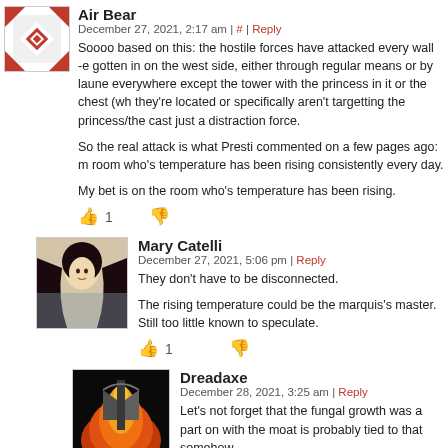Air Bear
December 27, 2021, 2:17 am | # | Reply
Soooo based on this: the hostile forces have attacked every wall -e gotten in on the west side, either through regular means or by laune everywhere except the tower with the princess in it or the chest (wh they're located or specifically aren't targetting the princess/the cast just a distraction force.

So the real attack is what Presti commented on a few pages ago: m room who's temperature has been rising consistently every day.

My bet is on the room who's temperature has been rising.
Mary Catelli
December 27, 2021, 5:06 pm | Reply
They don't have to be disconnected.

The rising temperature could be the marquis's master. Still too little known to speculate.
Dreadaxe
December 28, 2021, 3:25 am | Reply
Let's not forget that the fungal growth was a part on with the moat is probably tied to that somehow.